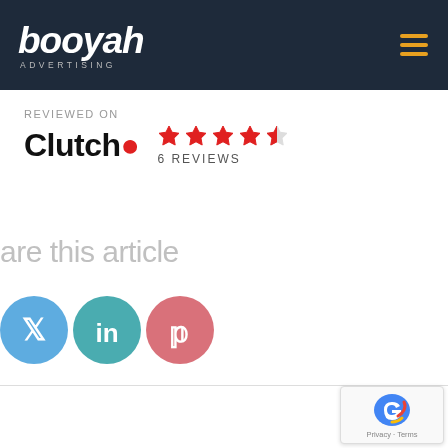[Figure (logo): Booyah Advertising logo in white italic text on dark navy header, with hamburger menu icon in orange on right]
REVIEWED ON
Clutch
★★★★☆ 4.5
6 REVIEWS
are this article
[Figure (illustration): Social media share icons: Twitter (blue circle), LinkedIn (teal circle), Pinterest (pink/red circle)]
[Figure (logo): reCAPTCHA badge in bottom right corner with Privacy and Terms text]